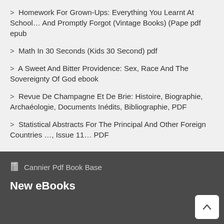> Homework For Grown-Ups: Everything You Learnt At School… And Promptly Forgot (Vintage Books) (Pape pdf epub
> Math In 30 Seconds (Kids 30 Second) pdf
> A Sweet And Bitter Providence: Sex, Race And The Sovereignty Of God ebook
> Revue De Champagne Et De Brie: Histoire, Biographie, Archaéologie, Documents Inédits, Bibliographie, PDF
> Statistical Abstracts For The Principal And Other Foreign Countries …, Issue 11… PDF
Cannier Pdf Book Base
New eBooks